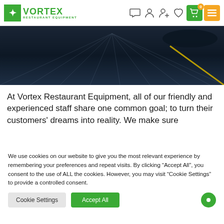Vortex Restaurant Equipment - Navigation bar with logo, chat, account, add account, wishlist, cart (0), and menu icons
[Figure (photo): Dark hero banner image showing road surface with yellow line, dark blue/grey tones]
At Vortex Restaurant Equipment, all of our friendly and experienced staff share one common goal; to turn their customers' dreams into reality. We make sure
We use cookies on our website to give you the most relevant experience by remembering your preferences and repeat visits. By clicking “Accept All”, you consent to the use of ALL the cookies. However, you may visit "Cookie Settings" to provide a controlled consent.
Cookie Settings | Accept All